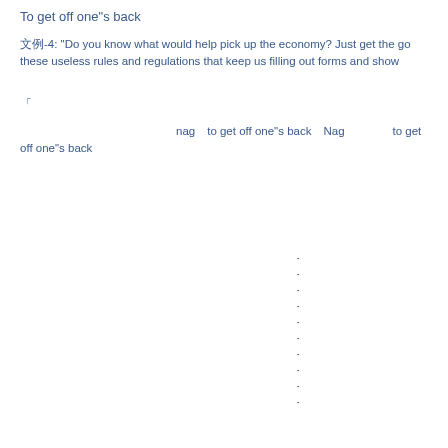To get off one"s back
文例-4: "Do you know what would help pick up the economy? Just get the go these useless rules and regulations that keep us filling out forms and show
「　　　　　　　　　　　　　　　　　　　　　　　　　　　　　　　　　　　　　　　　　　　」"
nag　to get off one"s back　Nag　　　　to get off one"s back
・
・
・
・
・
・
・
・
・
・